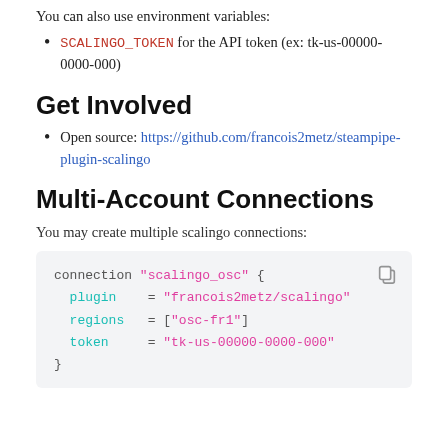You can also use environment variables:
SCALINGO_TOKEN for the API token (ex: tk-us-00000-0000-000)
Get Involved
Open source: https://github.com/francois2metz/steampipe-plugin-scalingo
Multi-Account Connections
You may create multiple scalingo connections:
[Figure (screenshot): Code block showing a Steampipe connection configuration for scalingo_osc with plugin, regions, and token fields]